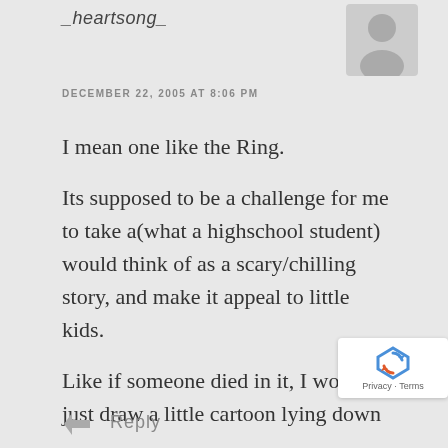_heartsong_
[Figure (illustration): Generic user avatar silhouette icon in gray]
DECEMBER 22, 2005 AT 8:06 PM
I mean one like the Ring.

Its supposed to be a challenge for me to take a(what a highschool student) would think of as a scary/chilling story, and make it appeal to little kids.

Like if someone died in it, I would just draw a little cartoon lying down
Reply